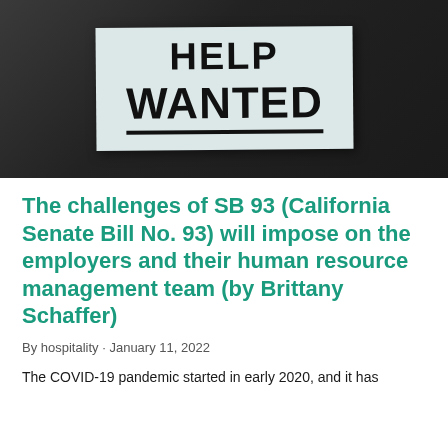[Figure (photo): A 'HELP WANTED' sign displayed in a window against a dark background. The sign is on light blue-white paper with bold black text reading 'HELP WANTED' with an underline beneath 'WANTED'.]
The challenges of SB 93 (California Senate Bill No. 93) will impose on the employers and their human resource management team (by Brittany Schaffer)
By hospitality · January 11, 2022
The COVID-19 pandemic started in early 2020, and it has